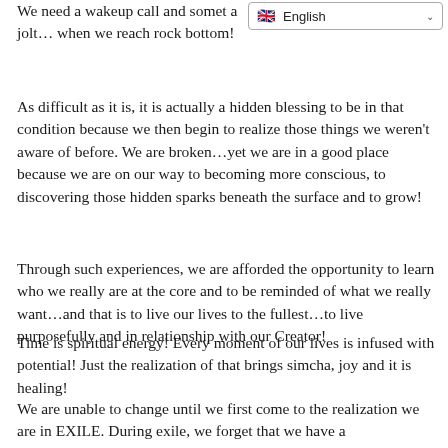We need a wakeup call and sometimes a jolt… when we reach rock bottom!
[Figure (screenshot): Language selector widget showing English flag and dropdown arrow]
As difficult as it is, it is actually a hidden blessing to be in that condition because we then begin to realize those things we weren't aware of before. We are broken…yet we are in a good place because we are on our way to becoming more conscious, to discovering those hidden sparks beneath the surface and to grow!
Through such experiences, we are afforded the opportunity to learn who we really are at the core and to be reminded of what we really want…and that is to live our lives to the fullest…to live purposefully and in relationship with our Creator!
Time is spiritual energy! Every moment of our lives is infused with potential! Just the realization of that brings simcha, joy and it is healing!
We are unable to change until we first come to the realization we are in EXILE. During exile, we forget that we have a